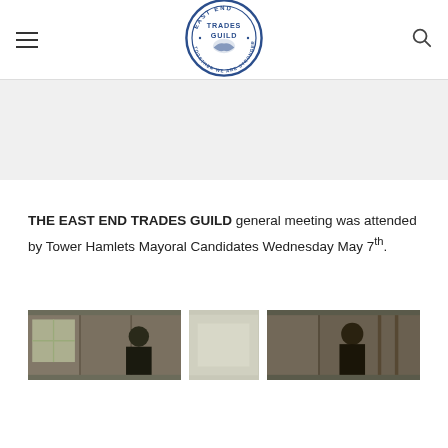East End Trades Guild — navigation header with hamburger menu, logo, and search icon
[Figure (logo): East End Trades Guild circular logo with blue border, handshake graphic, and text 'TOGETHER WE ARE STRONGER']
THE EAST END TRADES GUILD general meeting was attended by Tower Hamlets Mayoral Candidates Wednesday May 7th.
[Figure (photo): Two photographs side by side showing people at the meeting in a wood-panelled room]